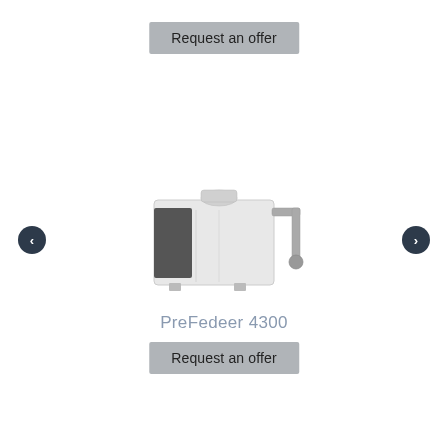Request an offer
[Figure (photo): Industrial machine PreFedeer 4300 — a large boxy off-white unit with a dark ventilation panel on the left side and mechanical arm/pipe on the right, photographed from a front-right angle on a white background. Navigation arrows (< and >) are shown on either side.]
PreFedeer 4300
Request an offer